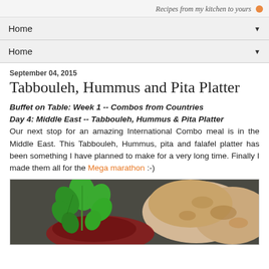Recipes from my kitchen to yours
Home
Home
September 04, 2015
Tabbouleh, Hummus and Pita Platter
Buffet on Table: Week 1 -- Combos from Countries Day 4: Middle East -- Tabbouleh, Hummus & Pita Platter Our next stop for an amazing International Combo meal is in the Middle East. This Tabbouleh, Hummus, pita and falafel platter has been something I have planned to make for a very long time. Finally I made them all for the Mega marathon :-)
[Figure (photo): Photo of fresh mint leaves and pita bread on a dark background]